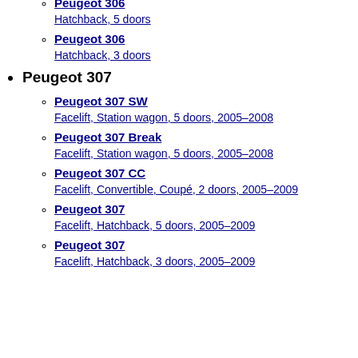Peugeot 306 / Hatchback, 5 doors
Peugeot 306 / Hatchback, 3 doors
Peugeot 307
Peugeot 307 SW / Facelift, Station wagon, 5 doors, 2005–2008
Peugeot 307 Break / Facelift, Station wagon, 5 doors, 2005–2008
Peugeot 307 CC / Facelift, Convertible, Coupé, 2 doors, 2005–2009
Peugeot 307 / Facelift, Hatchback, 5 doors, 2005–2009
Peugeot 307 / Facelift, Hatchback, 3 doors, 2005–2009